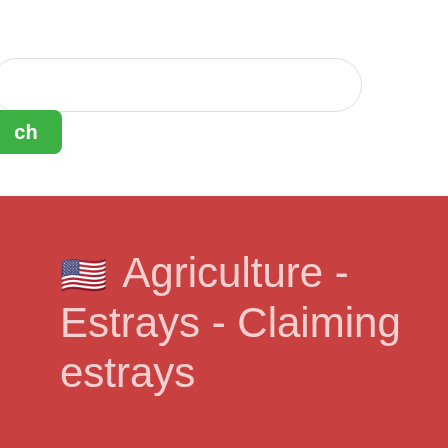[Figure (screenshot): White top section with a rounded search bar input and a green search button partially visible on the left edge]
🇺🇸 Agriculture - Estrays - Claiming estrays